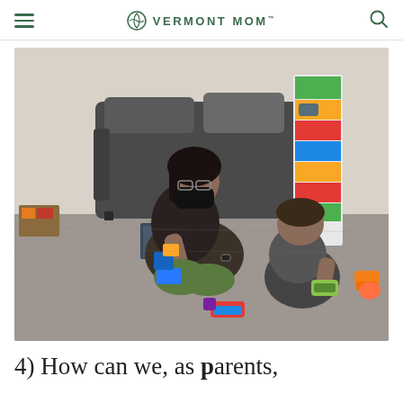VERMONT MOM
[Figure (photo): A woman wearing a black face mask and dark floral top sits cross-legged on a carpet, playing with colorful building blocks and toy cars alongside a young toddler boy in a gray shirt. A colorful toy parking garage tower is visible in the background along with a dark gray sofa with pillows.]
4) How can we, as parents,